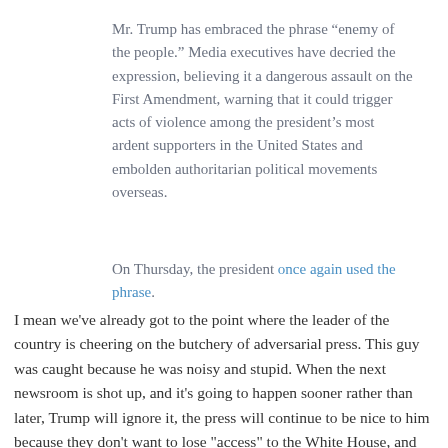Mr. Trump has embraced the phrase “enemy of the people.” Media executives have decried the expression, believing it a dangerous assault on the First Amendment, warning that it could trigger acts of violence among the president’s most ardent supporters in the United States and embolden authoritarian political movements overseas.
On Thursday, the president once again used the phrase.
I mean we've already got to the point where the leader of the country is cheering on the butchery of adversarial press. This guy was caught because he was noisy and stupid. When the next newsroom is shot up, and it's going to happen sooner rather than later, Trump will ignore it, the press will continue to be nice to him because they don't want to lose "access" to the White House, and more journalists will die.